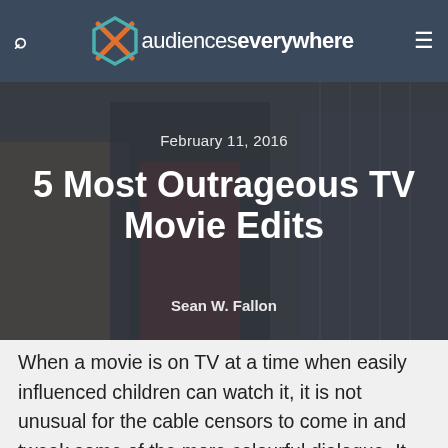audiences everywhere
[Figure (photo): Three men laughing/smiling in a lineup-style photo with a dark overlay, serving as a hero image for the article.]
February 11, 2016
5 Most Outrageous TV Movie Edits
Sean W. Fallon
When a movie is on TV at a time when easily influenced children can watch it, it is not unusual for the cable censors to come in and tweak some of the more colourful dialogue. It has a good track record of failing every time and resulting in strange non-sequiturs and gibberish dialogue. We've compiled some of our favourites and